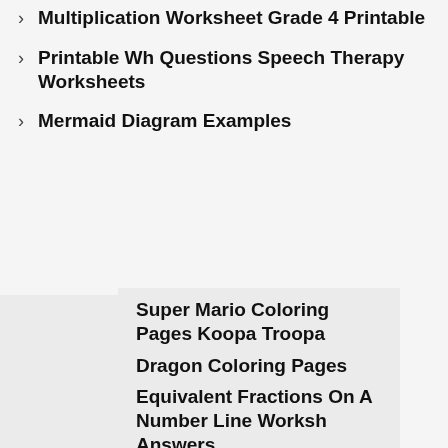Multiplication Worksheet Grade 4 Printable
Printable Wh Questions Speech Therapy Worksheets
Mermaid Diagram Examples
Super Mario Coloring Pages Koopa Troopa
Dragon Coloring Pages
Equivalent Fractions On A Number Line Worksheet Answers
Free Preschool Focus Wall Printables
How Do I Print Multiple Worksheets On One Page
Measuring Angles Worksheet Answer Key
Coloring Pages Dinosaur Robot